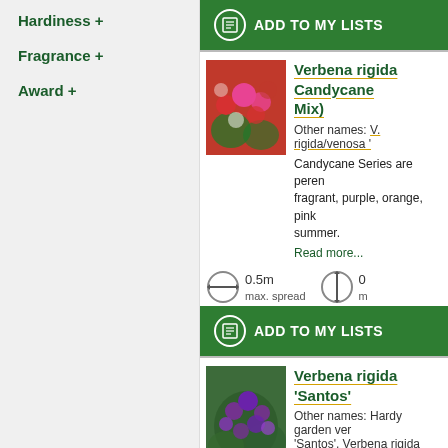Hardiness +
Fragrance +
Award +
ADD TO MY LISTS
Verbena rigida Candycane Mix)
Other names: V. rigida/venosa '...
Candycane Series are perennials... fragrant, purple, orange, pink... summer.
Read more...
0.5m max. spread
ADD TO MY LISTS
Verbena rigida 'Santos'
Other names: Hardy garden verbena 'Santos', Verbena rigida 'Santos...
'Santos' is a tender, bushy, s... oblong, toothed, rough, dark... flowers from early summer in...
Read more...
1.2m max. spread